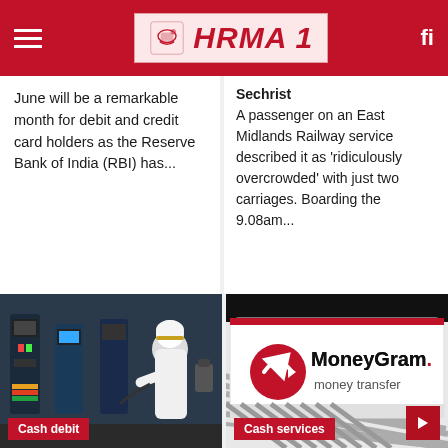HRMA 1
June will be a remarkable month for debit and credit card holders as the Reserve Bank of India (RBI) has...
Sechrist
A passenger on an East Midlands Railway service described it as 'ridiculously overcrowded' with just two carriages. Boarding the 9.08am...
[Figure (photo): Man in traditional Arab dress using fuel pump at a petrol station. Label: Cash debit]
[Figure (photo): MoneyGram money transfer card/brochure closeup. Label: Cash services]